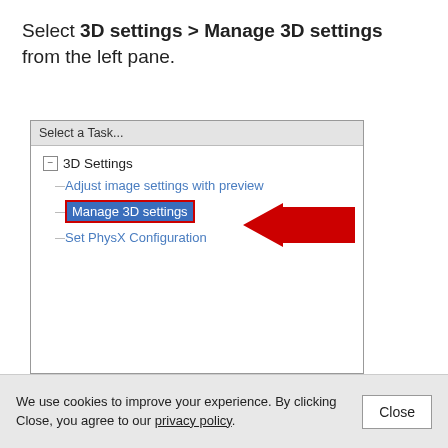Select 3D settings > Manage 3D settings from the left pane.
[Figure (screenshot): A Windows control panel pane showing a tree menu. It has a header 'Select a Task...' and shows '3D Settings' expanded with three sub-items: 'Adjust image settings with preview', 'Manage 3D settings' (highlighted in blue with a red border), and 'Set PhysX Configuration'. A red arrow points to the 'Manage 3D settings' item.]
Navigate to the Program Settings and select
We use cookies to improve your experience. By clicking Close, you agree to our privacy policy.